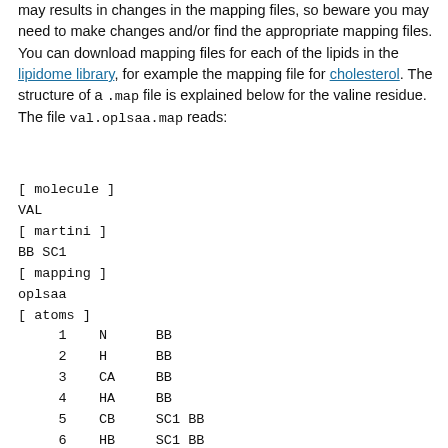may results in changes in the mapping files, so beware you may need to make changes and/or find the appropriate mapping files. You can download mapping files for each of the lipids in the lipidome library, for example the mapping file for cholesterol. The structure of a .map file is explained below for the valine residue. The file val.oplsaa.map reads:
[ molecule ]
VAL
[ martini ]
BB SC1
[ mapping ]
oplsaa
[ atoms ]
    1   N      BB
    2   H      BB
    3   CA     BB
    4   HA     BB
    5   CB     SC1 BB
    6   HB     SC1 BB
    8   CG1    SC1
    9   HG11   SC1